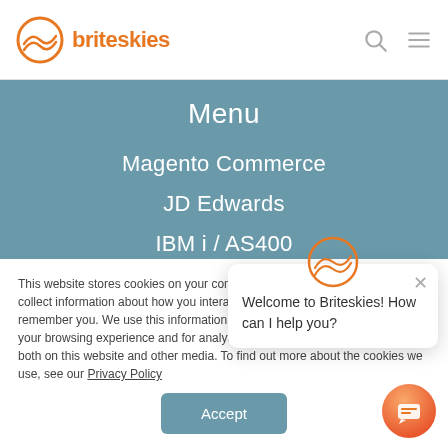[Figure (logo): Briteskies logo with orange circle and wave icon, orange text 'briteskies']
+216 368 3660
Menu
Magento Commerce
JD Edwards
IBM i / AS400
Acumatica
Integration
This website stores cookies on your computer. These cookies are used to collect information about how you interact with our website and allow us to remember you. We use this information in order to improve and customize your browsing experience and for analytics and metrics about our visitors both on this website and other media. To find out more about the cookies we use, see our Privacy Policy
[Figure (illustration): Chat popup with avatar icon and message: Welcome to Briteskies! How can I help you?]
[Figure (illustration): Orange gradient chat bubble button at bottom right]